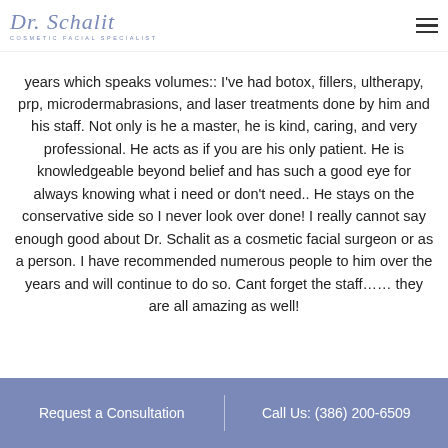Dr. Schalit — Cosmetic Facial Specialist
years which speaks volumes:: I've had botox, fillers, ultherapy, prp, microdermabrasions, and laser treatments done by him and his staff. Not only is he a master, he is kind, caring, and very professional. He acts as if you are his only patient. He is knowledgeable beyond belief and has such a good eye for always knowing what i need or don't need.. He stays on the conservative side so I never look over done! I really cannot say enough good about Dr. Schalit as a cosmetic facial surgeon or as a person. I have recommended numerous people to him over the years and will continue to do so. Cant forget the staff…… they are all amazing as well!
Request a Consultation | Call Us: (386) 200-6509